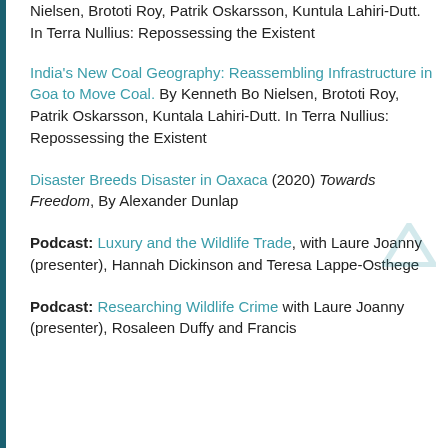Nielsen, Brototi Roy, Patrik Oskarsson, Kuntula Lahiri-Dutt. In Terra Nullius: Repossessing the Existent
India's New Coal Geography: Reassembling Infrastructure in Goa to Move Coal. By Kenneth Bo Nielsen, Brototi Roy, Patrik Oskarsson, Kuntala Lahiri-Dutt. In Terra Nullius: Repossessing the Existent
Disaster Breeds Disaster in Oaxaca (2020) Towards Freedom, By Alexander Dunlap
Podcast: Luxury and the Wildlife Trade, with Laure Joanny (presenter), Hannah Dickinson and Teresa Lappe-Osthege
Podcast: Researching Wildlife Crime with Laure Joanny (presenter), Rosaleen Duffy and Francis